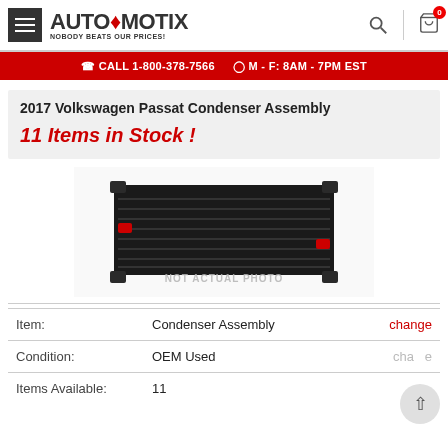AUTOmotix - NOBODY BEATS OUR PRICES!
CALL 1-800-378-7566  M - F: 8AM - 7PM EST
2017 Volkswagen Passat Condenser Assembly
11 Items in Stock !
[Figure (photo): Product image of a condenser assembly (black rectangular radiator-style unit with red fittings). Watermark reads NOT ACTUAL PHOTO.]
|  |  |  |
| --- | --- | --- |
| Item: | Condenser Assembly | change |
| Condition: | OEM Used | change |
| Items Available: | 11 |  |